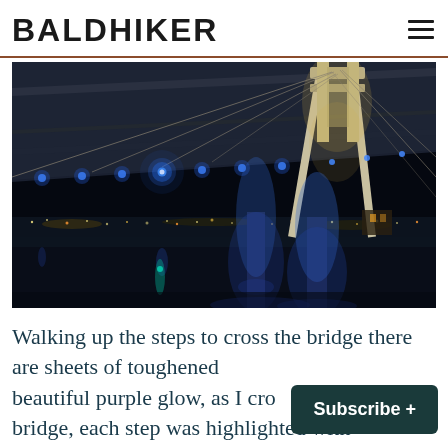BALDHIKER
[Figure (photo): Night photograph of a cable-stayed bridge illuminated with blue and white lights, taken from a low angle beneath the bridge deck. The bridge arches cross the frame with reflections in the water below and city lights in the background.]
Walking up the steps to cross the bridge there are sheets of toughened glass with a beautiful purple glow, as I cro... bridge, each step was highlighted with